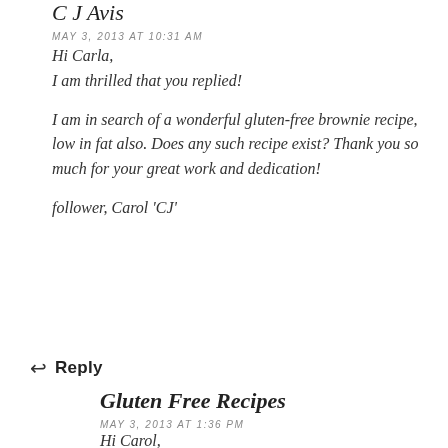C J Avis
MAY 3, 2013 AT 10:31 AM
Hi Carla,
I am thrilled that you replied!

I am in search of a wonderful gluten-free brownie recipe, low in fat also. Does any such recipe exist? Thank you so much for your great work and dedication!

follower, Carol 'CJ'
↩ Reply
Gluten Free Recipes
MAY 3, 2013 AT 1:36 PM
Hi Carol,